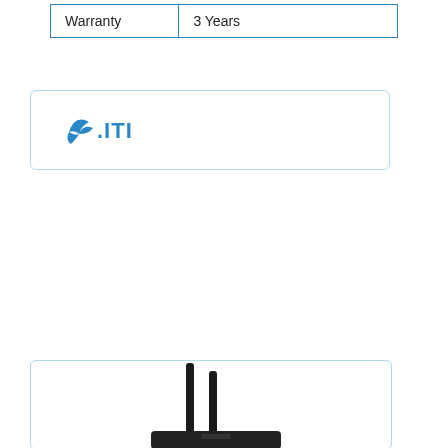| Warranty | 3 Years |
[Figure (logo): ITI logo — stylized blue bird/arrow icon followed by blue text '.ITI']
[Figure (photo): Photo of a networking device (router/modem) with two vertical black antennas, partially visible at bottom of page]